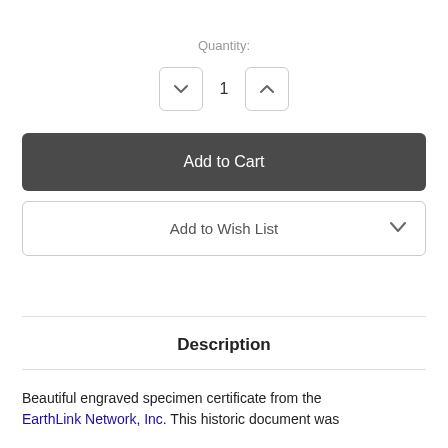Quantity:
1
Add to Cart
Add to Wish List
Description
Beautiful engraved specimen certificate from the EarthLink Network, Inc. This historic document was